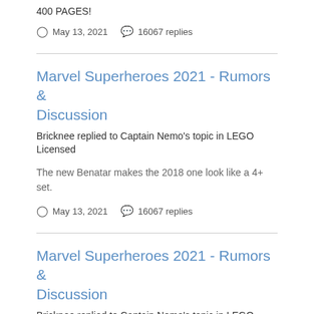400 PAGES!
May 13, 2021   16067 replies
Marvel Superheroes 2021 - Rumors & Discussion
Bricknee replied to Captain Nemo's topic in LEGO Licensed
The new Benatar makes the 2018 one look like a 4+ set.
May 13, 2021   16067 replies
Marvel Superheroes 2021 - Rumors & Discussion
Bricknee replied to Captain Nemo's topic in LEGO Licensed
Has there been any more info on the remaining 3 mystery figures for the Bugle set?